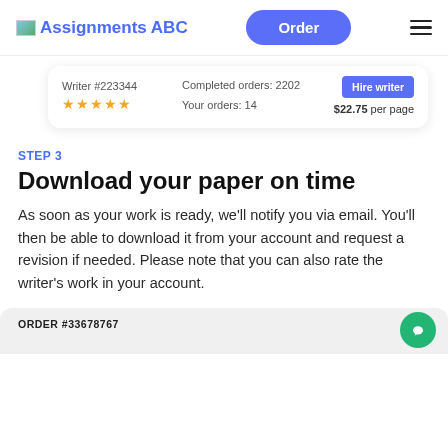Assignments ABC | Order
[Figure (screenshot): Writer card showing Writer #223344, 5 stars, Completed orders: 2202, Your orders: 14, Hire writer button, $22.75 per page]
STEP 3
Download your paper on time
As soon as your work is ready, we'll notify you via email. You'll then be able to download it from your account and request a revision if needed. Please note that you can also rate the writer's work in your account.
ORDER #33678767